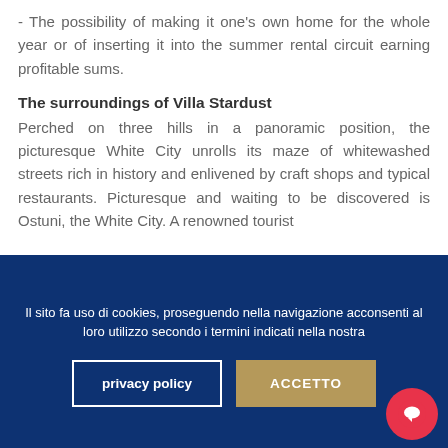- The possibility of making it one's own home for the whole year or of inserting it into the summer rental circuit earning profitable sums.
The surroundings of Villa Stardust
Perched on three hills in a panoramic position, the picturesque White City unrolls its maze of whitewashed streets rich in history and enlivened by craft shops and typical restaurants. Picturesque and waiting to be discovered is Ostuni, the White City. A renowned tourist
Il sito fa uso di cookies, proseguendo nella navigazione acconsenti al loro utilizzo secondo i termini indicati nella nostra
privacy policy
ACCETTO